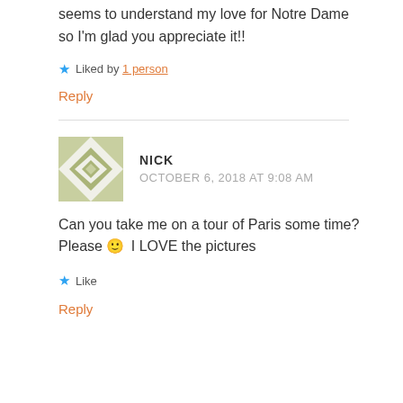seems to understand my love for Notre Dame so I'm glad you appreciate it!!
★ Liked by 1 person
Reply
NICK
OCTOBER 6, 2018 AT 9:08 AM
Can you take me on a tour of Paris some time? Please 🙂 I LOVE the pictures
★ Like
Reply